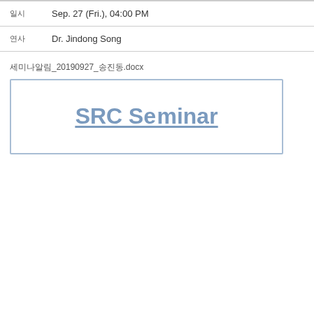일시: Sep. 27 (Fri.), 04:00 PM
연사: Dr. Jindong Song
세미나알림_20190927_송진동.docx
SRC Seminar